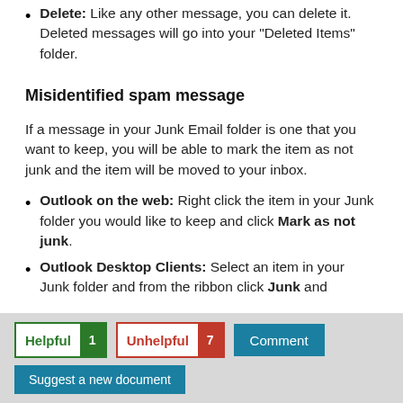Delete: Like any other message, you can delete it. Deleted messages will go into your “Deleted Items” folder.
Misidentified spam message
If a message in your Junk Email folder is one that you want to keep, you will be able to mark the item as not junk and the item will be moved to your inbox.
Outlook on the web: Right click the item in your Junk folder you would like to keep and click Mark as not junk.
Outlook Desktop Clients: Select an item in your Junk folder and from the ribbon click Junk and
Helpful 1  Unhelpful 7  Comment  Suggest a new document